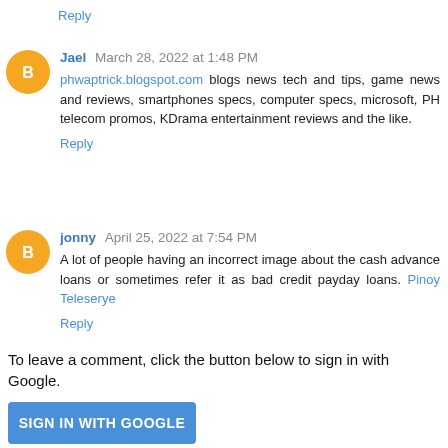Reply
Jael March 28, 2022 at 1:48 PM
phwaptrick.blogspot.com blogs news tech and tips, game news and reviews, smartphones specs, computer specs, microsoft, PH telecom promos, KDrama entertainment reviews and the like.
Reply
jonny April 25, 2022 at 7:54 PM
A lot of people having an incorrect image about the cash advance loans or sometimes refer it as bad credit payday loans. Pinoy Teleserye
Reply
To leave a comment, click the button below to sign in with Google.
SIGN IN WITH GOOGLE